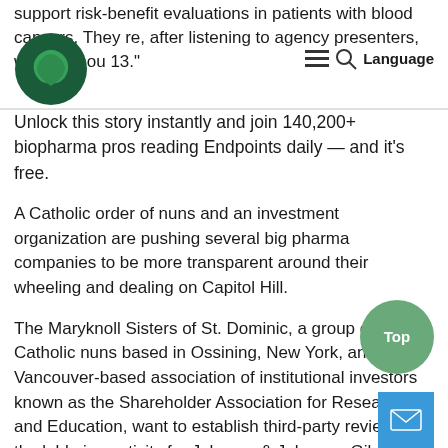support risk-benefit evaluations in patients with blood cancers. They re[...], after listening to agency presenters, with a resou[...] 13."
Unlock this story instantly and join 140,200+ biopharma pros reading Endpoints daily — and it's free.
A Catholic order of nuns and an investment organization are pushing several big pharma companies to be more transparent around their wheeling and dealing on Capitol Hill.
The Maryknoll Sisters of St. Dominic, a group of Roman Catholic nuns based in Ossining, New York, and a Vancouver-based association of institutional investors known as the Shareholder Association for Research and Education, want to establish third-party reviews of the lobbying activity for Johnson & Johnson, Gilead and Eli Lilly.
Unlock this story instantly and join 140,200+ biopharma pros reading Endpoints daily — and it's free.
What is CMV? If you're like most people, you don't know. Mode[...]